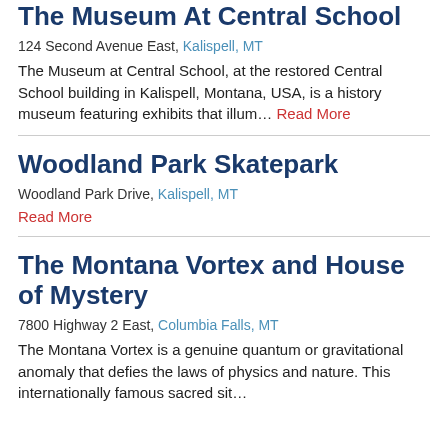The Museum At Central School
124 Second Avenue East, Kalispell, MT
The Museum at Central School, at the restored Central School building in Kalispell, Montana, USA, is a history museum featuring exhibits that illum… Read More
Woodland Park Skatepark
Woodland Park Drive, Kalispell, MT
Read More
The Montana Vortex and House of Mystery
7800 Highway 2 East, Columbia Falls, MT
The Montana Vortex is a genuine quantum or gravitational anomaly that defies the laws of physics and nature. This internationally famous sacred sit…